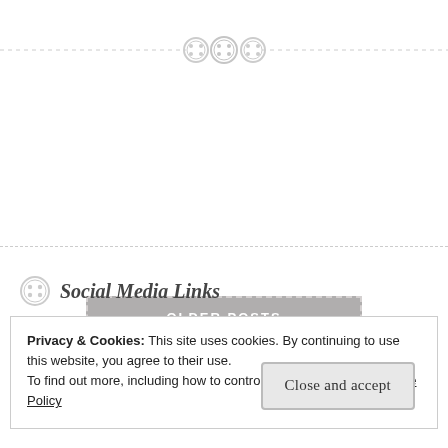[Figure (illustration): Decorative dashed divider with three button icons in the center]
[Figure (illustration): OLDER POSTS button with gray background and dashed border]
[Figure (illustration): Dashed horizontal divider line]
Social Media Links
Privacy & Cookies: This site uses cookies. By continuing to use this website, you agree to their use.
To find out more, including how to control cookies, see here: Cookie Policy
Close and accept